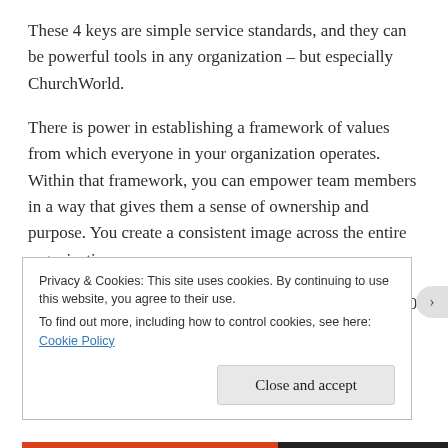These 4 keys are simple service standards, and they can be powerful tools in any organization – but especially ChurchWorld.
There is power in establishing a framework of values from which everyone in your organization operates. Within that framework, you can empower team members in a way that gives them a sense of ownership and purpose. You create a consistent image across the entire organization.
Disney's standards have stood the test of time for over 50
Privacy & Cookies: This site uses cookies. By continuing to use this website, you agree to their use.
To find out more, including how to control cookies, see here: Cookie Policy